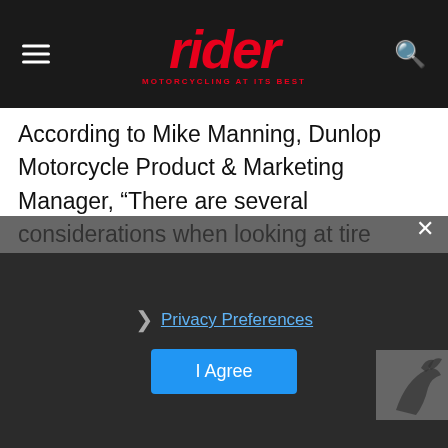rider MOTORCYCLING AT ITS BEST
According to Mike Manning, Dunlop Motorcycle Product & Marketing Manager, “There are several considerations when looking at tire design and use for a single-track ‘camber’ vehicle such as a motorcycle vs. a 2-track vehicle like a car or truck. Tire profile, construction and compounds are developed specifically for each type of vehicle.” Why? Because cars and motorcycles handle differently. A lot differently. Take a look at the images of the sports car and the bike negotiating the same sharp left-hand bend. Although both are BMWs, their handling—and the demands on the tires—are remarkably. The bike leans
[Figure (screenshot): Privacy/cookie consent overlay banner with 'Privacy Preferences' link and 'I Agree' button]